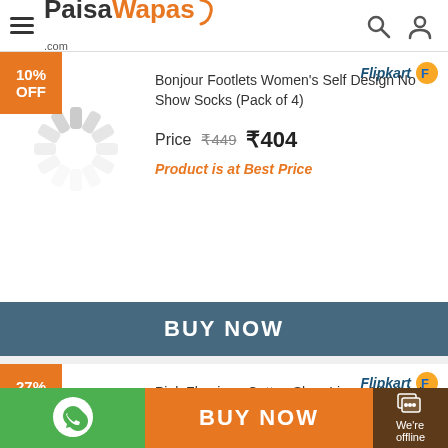[Figure (logo): PaisaWapas.com logo with hamburger menu, search and user icons in header]
[Figure (infographic): 10% OFF orange badge on product card 1]
[Figure (illustration): Loading spinner animation placeholder for product image 1]
Bonjour Footlets Women's Self Design No Show Socks (Pack of 4)
Price  ₹449  ₹404
Product is at Best Price
BUY NOW
[Figure (infographic): 27% OFF orange badge on product card 2]
[Figure (illustration): Loading spinner animation placeholder for product image 2]
Pink Flamingo Cotton Shoe Liners Women's Solid No Show Socks
Price  ₹199  ₹145
BUY NOW
We're offline